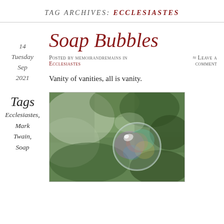TAG ARCHIVES: ECCLESIASTES
14
Tuesday
Sep
2021
Soap Bubbles
Posted by memoirandremains in Ecclesiastes
≈ Leave a comment
Vanity of vanities, all is vanity.
Tags
Ecclesiastes,
Mark
Twain,
Soap
[Figure (photo): Close-up photo of a soap bubble with iridescent rainbow colors floating in front of blurred green foliage background]